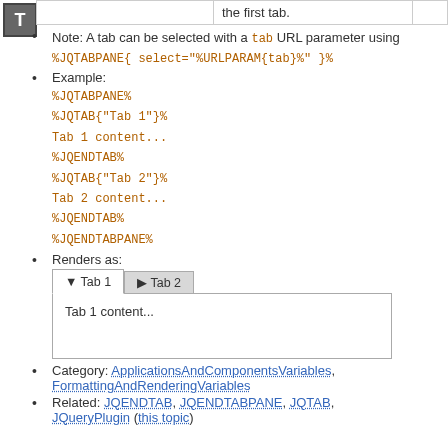|  |  |
| --- | --- |
|  | the first tab. |
Note: A tab can be selected with a tab URL parameter using %JQTABPANE{ select="%URLPARAM{tab}%" }%
Example:
%JQTABPANE%
%JQTAB{"Tab 1"}%
Tab 1 content...
%JQENDTAB%
%JQTAB{"Tab 2"}%
Tab 2 content...
%JQENDTAB%
%JQENDTABPANE%
Renders as:
[Figure (screenshot): Tab widget showing Tab 1 (active, with down arrow) and Tab 2 (inactive, with right arrow). Tab 1 content area shows 'Tab 1 content...']
Category: ApplicationsAndComponentsVariables, FormattingAndRenderingVariables
Related: JQENDTAB, JQENDTABPANE, JQTAB, JQueryPlugin (this topic)